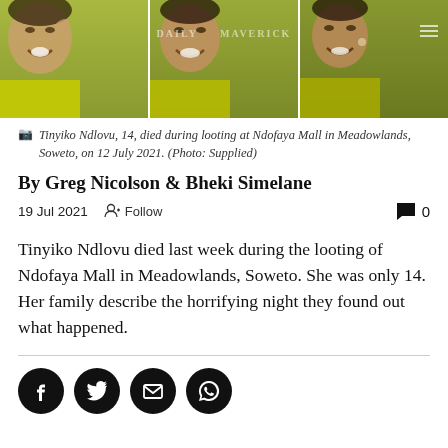[Figure (photo): Three-panel photo strip showing Tinyiko Ndlovu smiling, with a Daily Maverick watermark overlay. Green/yellow toned images side by side.]
Tinyiko Ndlovu, 14, died during looting at Ndofaya Mall in Meadowlands, Soweto, on 12 July 2021. (Photo: Supplied)
By Greg Nicolson & Bheki Simelane
19 Jul 2021   Follow   0
Tinyiko Ndlovu died last week during the looting of Ndofaya Mall in Meadowlands, Soweto. She was only 14. Her family describe the horrifying night they found out what happened.